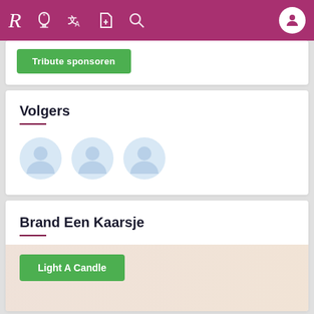Navigation bar with logo R, icons: gravestone, translate, document-add, search, user avatar
Tribute sponsoren (button, partially visible)
Volgers
[Figure (illustration): Three default user avatar icons in light blue/grey, arranged in a row]
Brand Een Kaarsje
Light A Candle (button)